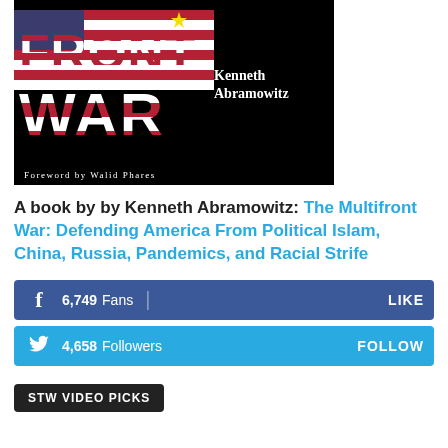[Figure (photo): Book cover of 'The Multifront War' by Kenneth Abramowitz, with American flag-styled text on black background, foreword by Walid Phares]
A book by by Kenneth Abramowitz: The Multifront War: Defending America From Political Islam, China, Russia, Pandemics, and Racial Strife
6,749 Fans LIKE
4,658 Followers FOLLOW
STW VIDEO PICKS